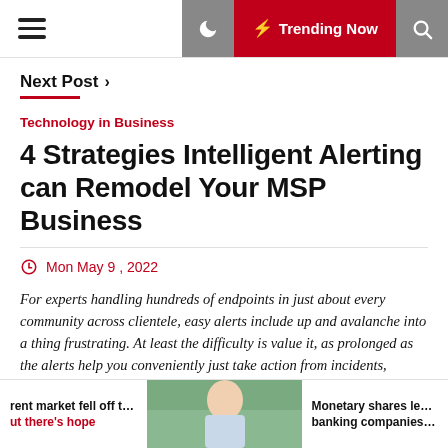Trending Now
Next Post >
Technology in Business
4 Strategies Intelligent Alerting can Remodel Your MSP Business
Mon May 9 , 2022
For experts handling hundreds of endpoints in just about every community across clientele, easy alerts include up and avalanche into a thing frustrating. At least the difficulty is value it, as prolonged as the alerts help you conveniently just take action from incidents, suitable? I'm fearful not.  A report [...]
rent market fell off the cliff ut there's hope   Monetary shares lead as n banking companies report